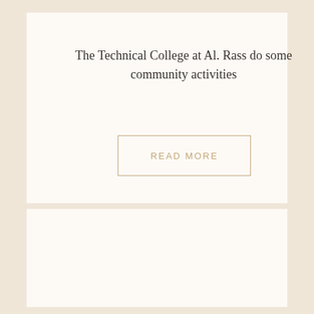The Technical College at Al. Rass do some community activities
READ MORE